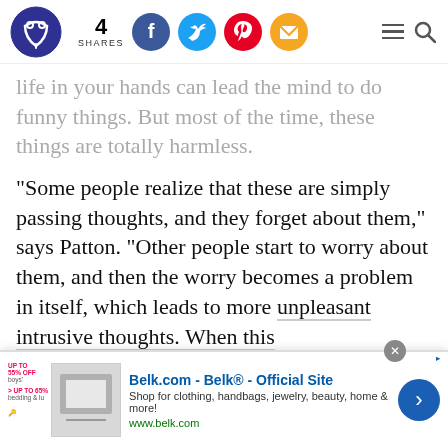4 SHARES [social icons: Facebook, Twitter, Pinterest, Email] [hamburger menu] [search]
life in your hands can lead the mind to do funny things. But most of the time, these things are totally harmless.
“Some people realize that these are simply passing thoughts, and they forget about them,” says Patton. “Other people start to worry about them, and then the worry becomes a problem in itself, which leads to more unpleasant intrusive thoughts. When this
[Figure (screenshot): Belk.com advertisement banner showing Belk Official Site with clothing and home goods imagery]